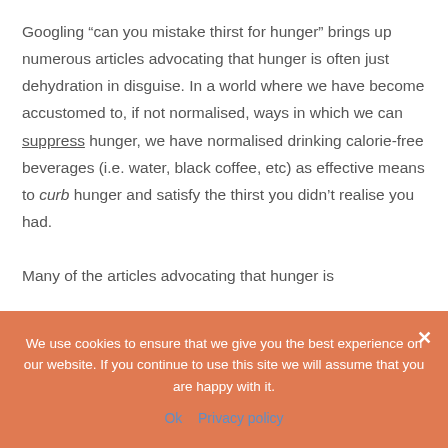Googling “can you mistake thirst for hunger” brings up numerous articles advocating that hunger is often just dehydration in disguise. In a world where we have become accustomed to, if not normalised, ways in which we can suppress hunger, we have normalised drinking calorie-free beverages (i.e. water, black coffee, etc) as effective means to curb hunger and satisfy the thirst you didn’t realise you had.

Many of the articles advocating that hunger is
We use cookies to ensure that we give you the best experience on our website. If you continue to use this site we will assume that you are happy with it.
Ok   Privacy policy